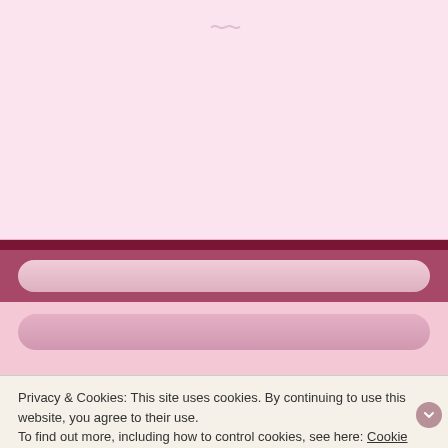[Figure (screenshot): Top pink section of a blog website with a decorative swirl/tilde ornament and light pink background]
[Figure (screenshot): Dark crimson divider bar separating sections]
[Figure (screenshot): Search bar with rounded pill shape on dark pink background]
[Figure (screenshot): Second search bar with rounded pill shape on light pink background]
RECENT POSTS
The Review of The Essential Frankenstein by Mary Shelley and Leonard Wolf
Privacy & Cookies: This site uses cookies. By continuing to use this website, you agree to their use.
To find out more, including how to control cookies, see here: Cookie Policy
Close and accept
Advertisements